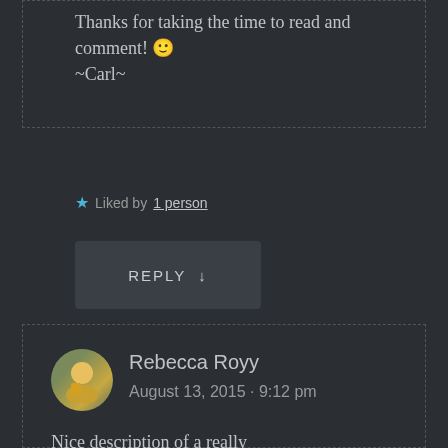Thanks for taking the time to read and comment! 🙂
~Carl~
★ Liked by 1 person
REPLY ↓
Rebecca Royy
August 13, 2015 · 9:12 pm
Nice description of a really tough sounding race! I like the